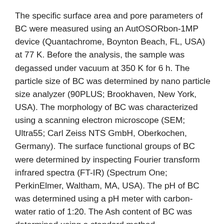The specific surface area and pore parameters of BC were measured using an AutOSORbon-1MP device (Quantachrome, Boynton Beach, FL, USA) at 77 K. Before the analysis, the sample was degassed under vacuum at 350 K for 6 h. The particle size of BC was determined by nano particle size analyzer (90PLUS; Brookhaven, New York, USA). The morphology of BC was characterized using a scanning electron microscope (SEM; Ultra55; Carl Zeiss NTS GmbH, Oberkochen, Germany). The surface functional groups of BC were determined by inspecting Fourier transform infrared spectra (FT-IR) (Spectrum One; PerkinElmer, Waltham, MA, USA). The pH of BC was determined using a pH meter with carbon-water ratio of 1:20. The Ash content of BC was determined using a standard method (GB/T176641999).